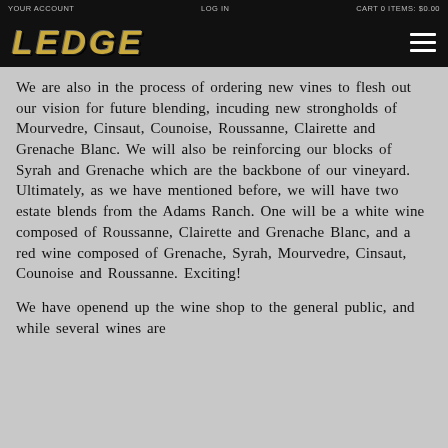YOUR ACCOUNT    LOG IN    CART 0 ITEMS: $0.00
[Figure (logo): LEDGE winery logo in gold italic bold text on black background with hamburger menu icon]
We are also in the process of ordering new vines to flesh out our vision for future blending, incuding new strongholds of Mourvedre, Cinsaut, Counoise, Roussanne, Clairette and Grenache Blanc. We will also be reinforcing our blocks of Syrah and Grenache which are the backbone of our vineyard. Ultimately, as we have mentioned before, we will have two estate blends from the Adams Ranch. One will be a white wine composed of Roussanne, Clairette and Grenache Blanc, and a red wine composed of Grenache, Syrah, Mourvedre, Cinsaut, Counoise and Roussanne. Exciting!
We have openend up the wine shop to the general public, and while several wines are